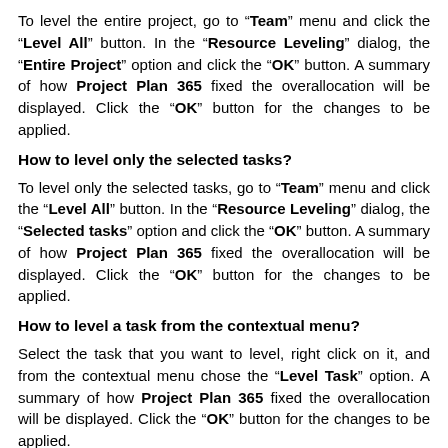To level the entire project, go to “Team” menu and click the “Level All” button. In the “Resource Leveling” dialog, the “Entire Project” option and click the “OK” button. A summary of how Project Plan 365 fixed the overallocation will be displayed. Click the “OK” button for the changes to be applied.
How to level only the selected tasks?
To level only the selected tasks, go to “Team” menu and click the “Level All” button. In the “Resource Leveling” dialog, the “Selected tasks” option and click the “OK” button. A summary of how Project Plan 365 fixed the overallocation will be displayed. Click the “OK” button for the changes to be applied.
How to level a task from the contextual menu?
Select the task that you want to level, right click on it, and from the contextual menu chose the “Level Task” option. A summary of how Project Plan 365 fixed the overallocation will be displayed. Click the “OK” button for the changes to be applied.
What are the options related to levering on the Resource...